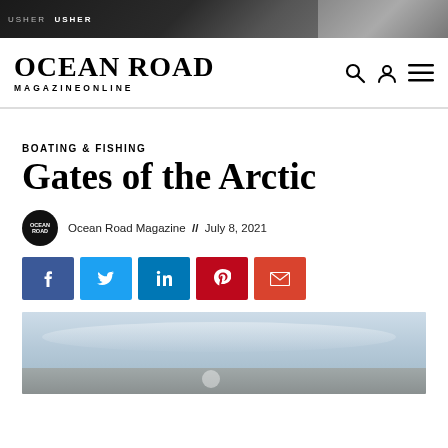[Figure (photo): Advertisement banner with dark background and photo on right side showing text 'Usher Usher']
OCEAN ROAD MAGAZINEONLINE
BOATING & FISHING
Gates of the Arctic
Ocean Road Magazine // July 8, 2021
[Figure (infographic): Social share buttons: Facebook, Twitter, LinkedIn, Pinterest, Email]
[Figure (photo): Outdoor arctic landscape photo with sky and mountains]